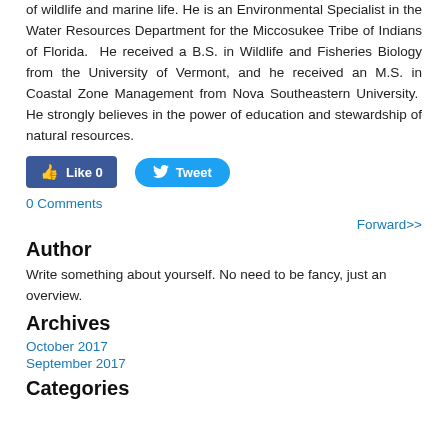of wildlife and marine life. He is an Environmental Specialist in the Water Resources Department for the Miccosukee Tribe of Indians of Florida. He received a B.S. in Wildlife and Fisheries Biology from the University of Vermont, and he received an M.S. in Coastal Zone Management from Nova Southeastern University. He strongly believes in the power of education and stewardship of natural resources.
[Figure (screenshot): Facebook Like button (blue, rounded rectangle) showing 'Like 0' with thumbs up icon, and Twitter Tweet button (blue, pill-shaped) showing bird icon and 'Tweet']
0 Comments
Forward>>
Author
Write something about yourself. No need to be fancy, just an overview.
Archives
October 2017
September 2017
Categories